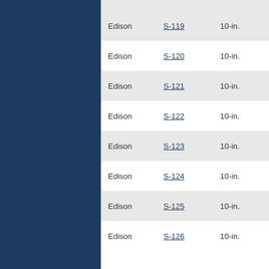|  | Model | Size |
| --- | --- | --- |
| Edison | S-119 | 10-in. |
| Edison | S-120 | 10-in. |
| Edison | S-121 | 10-in. |
| Edison | S-122 | 10-in. |
| Edison | S-123 | 10-in. |
| Edison | S-124 | 10-in. |
| Edison | S-125 | 10-in. |
| Edison | S-126 | 10-in. |